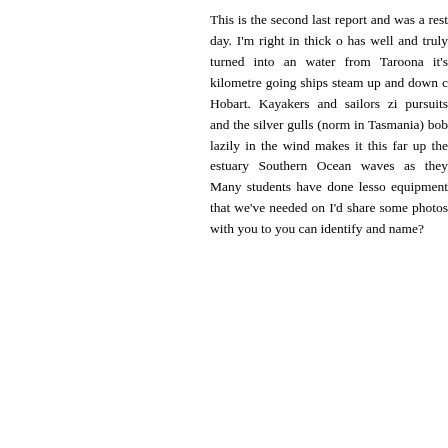This is the second last report and was a rest day. I'm right in thick o has well and truly turned into an water from Taroona it's kilometre going ships steam up and down c Hobart. Kayakers and sailors zi pursuits and the silver gulls (norm in Tasmania) bob lazily in the wind makes it this far up the estuary Southern Ocean waves as they Many students have done lesso equipment that we've needed on I'd share some photos with you to you can identify and name?